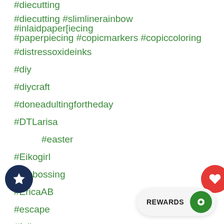#diecutting
#diecutting #slimlinerainbow #inlaidpaper[iecing #paperpiecing #copicmarkers #copiccoloring
#distressoxideinks
#diy
#diycraft
#doneadultingfortheday
#DTLarisa
#easter
#Eikogirl
#embossing
#EricaAB
#escape
#fall